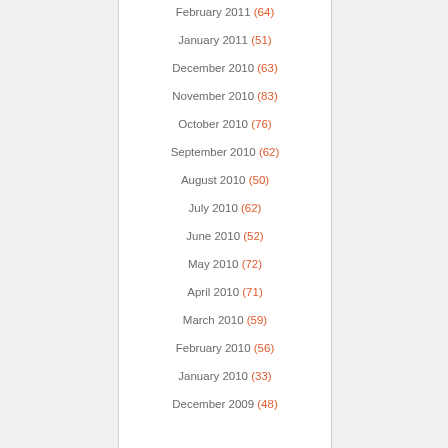February 2011 (64)
January 2011 (51)
December 2010 (63)
November 2010 (83)
October 2010 (76)
September 2010 (62)
August 2010 (50)
July 2010 (62)
June 2010 (52)
May 2010 (72)
April 2010 (71)
March 2010 (59)
February 2010 (56)
January 2010 (33)
December 2009 (48)